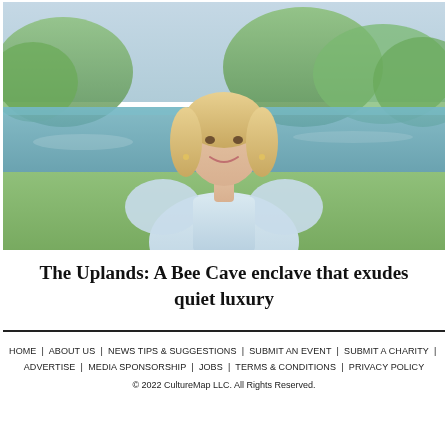[Figure (photo): Portrait photo of a smiling blonde woman in a light blue ruffled dress, standing outdoors near a pond with trees and greenery in the background.]
The Uplands: A Bee Cave enclave that exudes quiet luxury
HOME | ABOUT US | NEWS TIPS & SUGGESTIONS | SUBMIT AN EVENT | SUBMIT A CHARITY | ADVERTISE | MEDIA SPONSORSHIP | JOBS | TERMS & CONDITIONS | PRIVACY POLICY
© 2022 CultureMap LLC. All Rights Reserved.